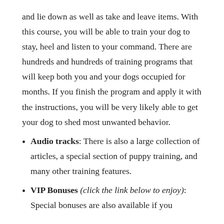and lie down as well as take and leave items. With this course, you will be able to train your dog to stay, heel and listen to your command. There are hundreds and hundreds of training programs that will keep both you and your dogs occupied for months. If you finish the program and apply it with the instructions, you will be very likely able to get your dog to shed most unwanted behavior.
Audio tracks: There is also a large collection of articles, a special section of puppy training, and many other training features.
VIP Bonuses (click the link below to enjoy): Special bonuses are also available if you